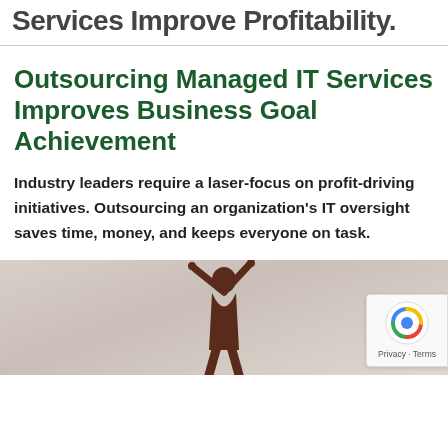Services Improve Profitability.
Outsourcing Managed IT Services Improves Business Goal Achievement
Industry leaders require a laser-focus on profit-driving initiatives. Outsourcing an organization's IT oversight saves time, money, and keeps everyone on task.
[Figure (photo): Person with arms raised in a celebratory pose against a light background, with a reCAPTCHA privacy badge overlay in the bottom right corner.]